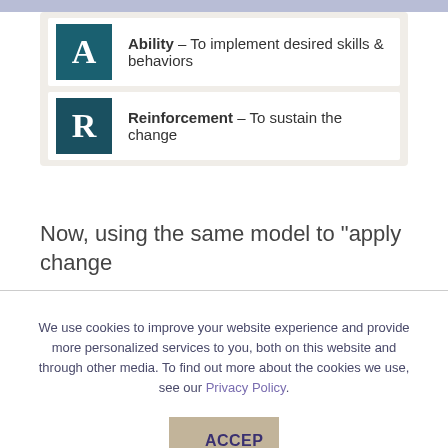Ability – To implement desired skills & behaviors
Reinforcement – To sustain the change
Now, using the same model to "apply change
We use cookies to improve your website experience and provide more personalized services to you, both on this website and through other media. To find out more about the cookies we use, see our Privacy Policy.
ACCEPT